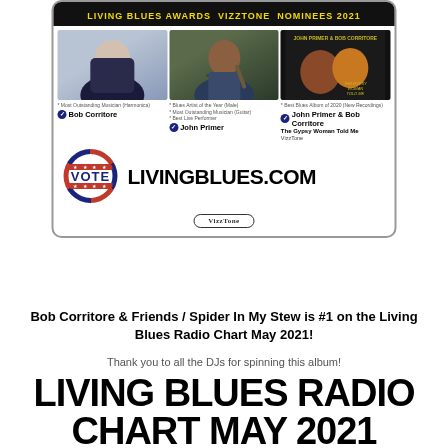[Figure (infographic): Living Blues Awards VizzTone Nominees 2021 advertisement. Three photo cells: Bob Corritore (harmonica), John Primer (guitar/live performer), John Primer & Bob Corritore album 'The Gypsy Woman Told Me'. Vote badge and LIVINGBLUES.COM website. VizzTone logo at bottom.]
Bob Corritore & Friends / Spider In My Stew is #1 on the Living Blues Radio Chart May 2021!
Thank you to all the DJs for spinning this album!
LIVING BLUES RADIO CHART MAY 2021